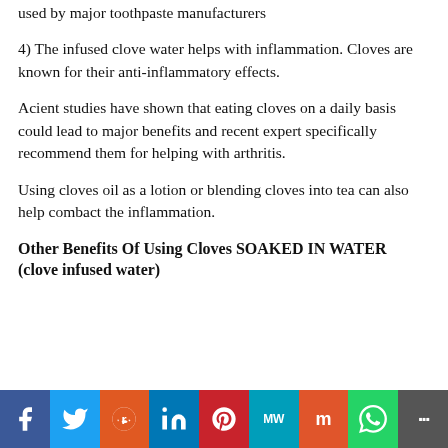used by major toothpaste manufacturers
4) The infused clove water helps with inflammation. Cloves are known for their anti-inflammatory effects.
Acient studies have shown that eating cloves on a daily basis could lead to major benefits and recent expert specifically recommend them for helping with arthritis.
Using cloves oil as a lotion or blending cloves into tea can also help combact the inflammation.
Other Benefits Of Using Cloves SOAKED IN WATER (clove infused water)